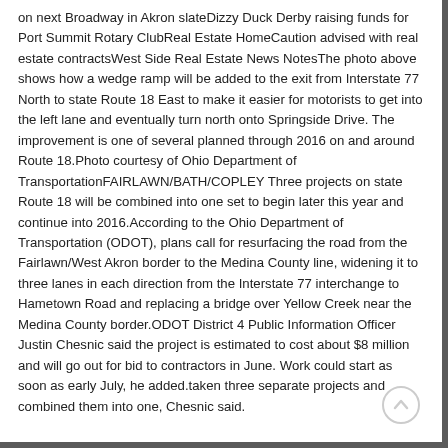on next Broadway in Akron slateDizzy Duck Derby raising funds for Port Summit Rotary ClubReal Estate HomeCaution advised with real estate contractsWest Side Real Estate News NotesThe photo above shows how a wedge ramp will be added to the exit from Interstate 77 North to state Route 18 East to make it easier for motorists to get into the left lane and eventually turn north onto Springside Drive. The improvement is one of several planned through 2016 on and around Route 18.Photo courtesy of Ohio Department of TransportationFAIRLAWN/BATH/COPLEY Three projects on state Route 18 will be combined into one set to begin later this year and continue into 2016.According to the Ohio Department of Transportation (ODOT), plans call for resurfacing the road from the Fairlawn/West Akron border to the Medina County line, widening it to three lanes in each direction from the Interstate 77 interchange to Hametown Road and replacing a bridge over Yellow Creek near the Medina County border.ODOT District 4 Public Information Officer Justin Chesnic said the project is estimated to cost about $8 million and will go out for bid to contractors in June. Work could start as soon as early July, he added.taken three separate projects and combined them into one, Chesnic said.